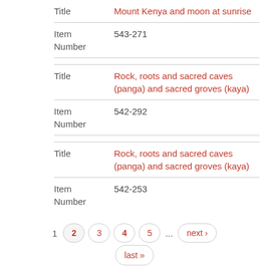| Field | Value |
| --- | --- |
| Title | Mount Kenya and moon at sunrise |
| Item Number | 543-271 |
| Title | Rock, roots and sacred caves (panga) and sacred groves (kaya) |
| Item Number | 542-292 |
| Title | Rock, roots and sacred caves (panga) and sacred groves (kaya) |
| Item Number | 542-253 |
1  2  3  4  5  ...  next ›  last »